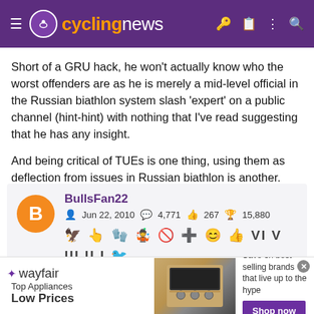cyclingnews
Short of a GRU hack, he won't actually know who the worst offenders are as he is merely a mid-level official in the Russian biathlon system slash 'expert' on a public channel (hint-hint) with nothing that I've read suggesting that he has any insight.

And being critical of TUEs is one thing, using them as deflection from issues in Russian biathlon is another.
BullsFan22
Jun 22, 2010  4,771  267  15,880
[Figure (screenshot): Wayfair advertisement banner: Top Appliances Low Prices, Shop now button, appliance image]
Top Appliances Low Prices — Save on best selling brands that live up to the hype. Shop now.